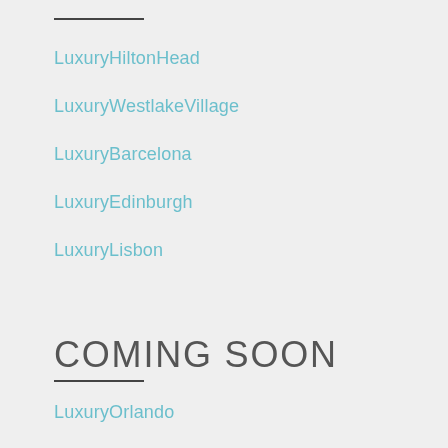LuxuryHiltonHead
LuxuryWestlakeVillage
LuxuryBarcelona
LuxuryEdinburgh
LuxuryLisbon
COMING SOON
LuxuryOrlando